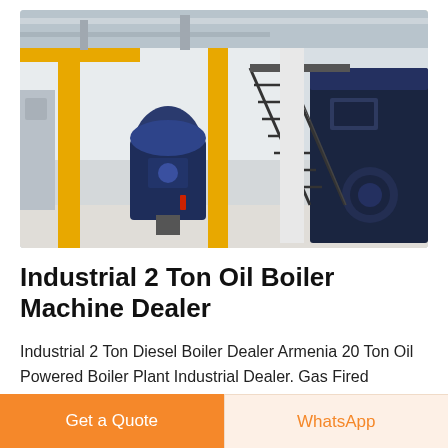[Figure (photo): Industrial boiler room with large blue boiler unit on the right, yellow structural columns, metal staircase, white concrete floor, and industrial ceiling with pipes and ducts]
Industrial 2 Ton Oil Boiler Machine Dealer
Industrial 2 Ton Diesel Boiler Dealer Armenia 20 Ton Oil Powered Boiler Plant Industrial Dealer. Gas Fired
Get a Quote
WhatsApp